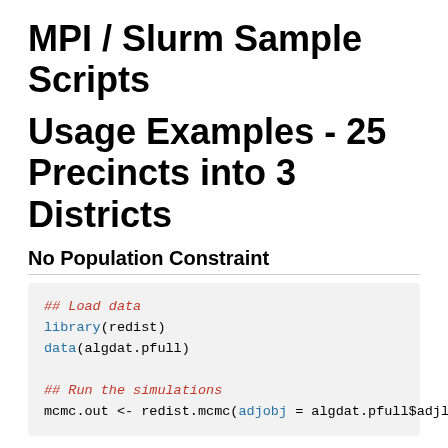MPI / Slurm Sample Scripts
Usage Examples - 25 Precincts into 3 Districts
No Population Constraint
## Load data
library(redist)
data(algdat.pfull)

## Run the simulations
mcmc.out <- redist.mcmc(adjobj = algdat.pfull$adjlist,